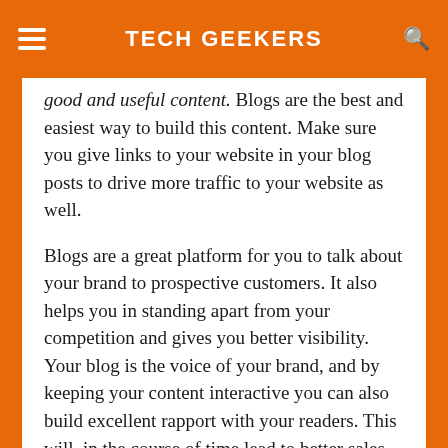TECH GEEKERS
good and useful content. Blogs are the best and easiest way to build this content. Make sure you give links to your website in your blog posts to drive more traffic to your website as well.
Blogs are a great platform for you to talk about your brand to prospective customers. It also helps you in standing apart from your competition and gives you better visibility. Your blog is the voice of your brand, and by keeping your content interactive you can also build excellent rapport with your readers. This will, in the course of time lead to better sales of your brand.
Document your journey